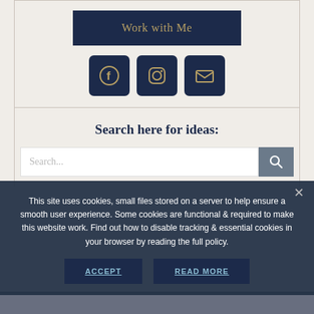[Figure (screenshot): Work with Me button in dark navy with gold text, centered on beige background]
[Figure (screenshot): Three social media icon buttons (Facebook, Instagram, Email) in dark navy with gold icons]
Search here for ideas:
[Figure (screenshot): Search bar with placeholder text 'Search...' and dark search icon button on right]
This site uses cookies, small files stored on a server to help ensure a smooth user experience. Some cookies are functional & required to make this website work. Find out how to disable tracking & essential cookies in your browser by reading the full policy.
[Figure (screenshot): Cookie consent buttons: ACCEPT and READ MORE in dark navy]